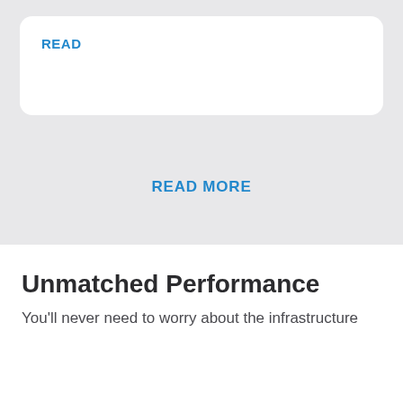READ
READ MORE
Unmatched Performance
You'll never need to worry about the infrastructure